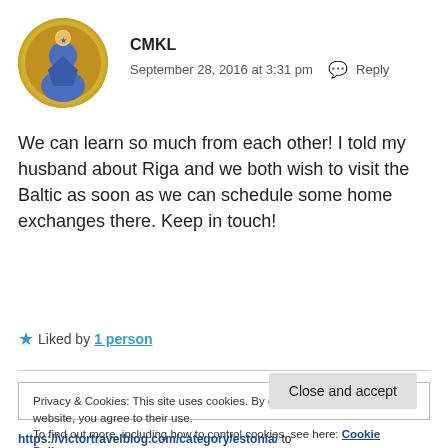[Figure (illustration): Circular avatar image with a blue figure on a yellow/gold background, representing user CMKL]
CMKL
September 28, 2016 at 3:31 pm  Reply
We can learn so much from each other! I told my husband about Riga and we both wish to visit the Baltic as soon as we can schedule some home exchanges there. Keep in touch!
Liked by 1 person
Privacy & Cookies: This site uses cookies. By continuing to use this website, you agree to their use.
To find out more, including how to control cookies, see here: Cookie Policy
Close and accept
https://victortravelblog.com/category/estonia/ to